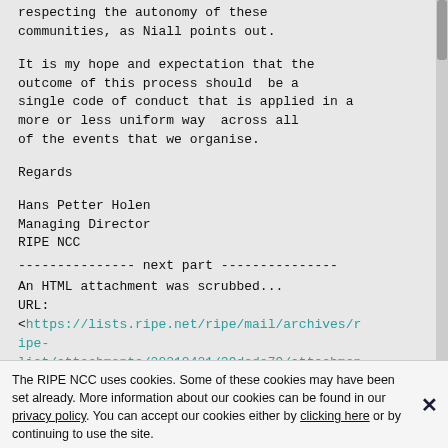respecting the autonomy of these communities, as Niall points out.

It is my hope and expectation that the outcome of this process should  be a single code of conduct that is applied in a more or less uniform way  across all of the events that we organise.

Regards

Hans Petter Holen
Managing Director
RIPE NCC
--------------- next part ---------------
An HTML attachment was scrubbed...
URL:
<https://lists.ripe.net/ripe/mail/archives/ripe-list/attachments/20210421/39dede79/attachmen
The RIPE NCC uses cookies. Some of these cookies may have been set already. More information about our cookies can be found in our privacy policy. You can accept our cookies either by clicking here or by continuing to use the site.